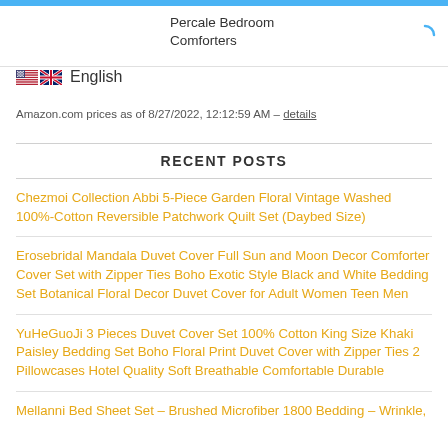Percale Bedroom Comforters
English
Amazon.com prices as of 8/27/2022, 12:12:59 AM – details
RECENT POSTS
Chezmoi Collection Abbi 5-Piece Garden Floral Vintage Washed 100%-Cotton Reversible Patchwork Quilt Set (Daybed Size)
Erosebridal Mandala Duvet Cover Full Sun and Moon Decor Comforter Cover Set with Zipper Ties Boho Exotic Style Black and White Bedding Set Botanical Floral Decor Duvet Cover for Adult Women Teen Men
YuHeGuoJi 3 Pieces Duvet Cover Set 100% Cotton King Size Khaki Paisley Bedding Set Boho Floral Print Duvet Cover with Zipper Ties 2 Pillowcases Hotel Quality Soft Breathable Comfortable Durable
Mellanni Bed Sheet Set – Brushed Microfiber 1800 Bedding – Wrinkle,